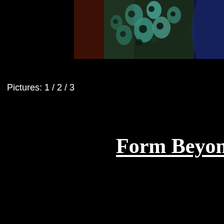[Figure (photo): Partial view of a figure/creature with a textured teal/blue spotted pattern, against a dark background with hints of warm reddish-brown tones, cropped at the top of the page]
Pictures: 1 / 2 / 3
Form Beyond S